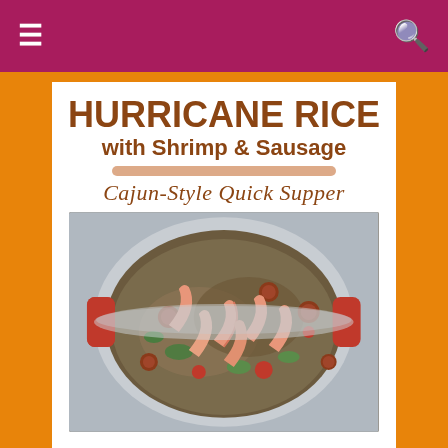Navigation bar with menu and search icons
HURRICANE RICE with Shrimp & Sausage
Cajun-Style Quick Supper
[Figure (photo): Overhead photo of a red Dutch oven filled with hurricane rice, shrimp, sausage slices, green peppers, tomatoes, and onions]